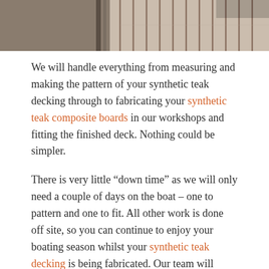[Figure (photo): Close-up photo of synthetic teak decking with vertical planks and seams, cropped at the top of the page]
We will handle everything from measuring and making the pattern of your synthetic teak decking through to fabricating your synthetic teak composite boards in our workshops and fitting the finished deck. Nothing could be simpler.
There is very little “down time” as we will only need a couple of days on the boat – one to pattern and one to fit. All other work is done off site, so you can continue to enjoy your boating season whilst your synthetic teak decking is being fabricated. Our team will travel, abroad if necessary, to provide the First-Class service but, depending on your location, the Premium service may be more suitable. Contact us to enquire about our First